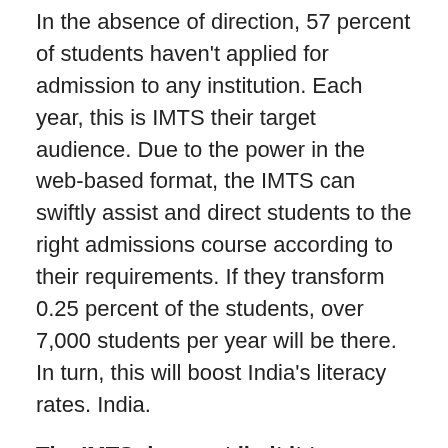In the absence of direction, 57 percent of students haven't applied for admission to any institution. Each year, this is IMTS their target audience. Due to the power in the web-based format, the IMTS can swiftly assist and direct students to the right admissions course according to their requirements. If they transform 0.25 percent of the students, over 7,000 students per year will be there. In turn, this will boost India's literacy rates. India.
The IMTS does not limit it to any extent.
The students from UAE, Oman, Kuwait, Kuwait, the United States, and the United Kingdom account for 40 percent of those who need assistance. After receiving proper instruction, they are now operating